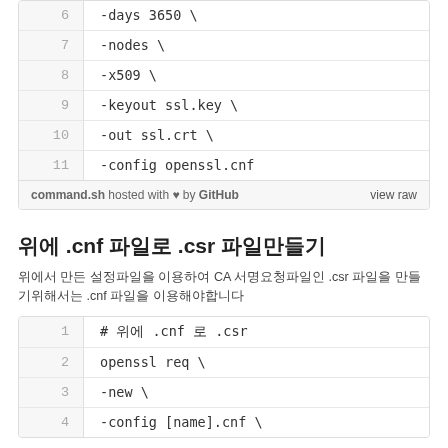| line | code |
| --- | --- |
| 6 | -days 3650 \ |
| 7 | -nodes \ |
| 8 | -x509 \ |
| 9 | -keyout ssl.key \ |
| 10 | -out ssl.crt \ |
| 11 | -config openssl.cnf |
command.sh hosted with ♥ by GitHub   view raw
위에 .cnf 파일로 .csr 파일만들기
위에서 만든 설정파일을 이용하여 CA 서명요청파일인 .csr 파일을 만들기위해서는 .cnf 파일을 이용해야합니다
| line | code |
| --- | --- |
| 1 | # 위에 .cnf 로 .csr |
| 2 | openssl req \ |
| 3 | -new \ |
| 4 | -config [name].cnf \ |